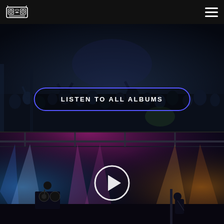Navigation bar with boombox logo and hamburger menu
[Figure (photo): Concert crowd photo with dark blue overlay, audience in a venue with stage lighting]
LISTEN TO ALL ALBUMS
[Figure (photo): Concert stage photo with colorful stage lights (purple/pink/white) and performers at DJ booth and guitar]
[Figure (other): White circular play button overlay on the stage photo]